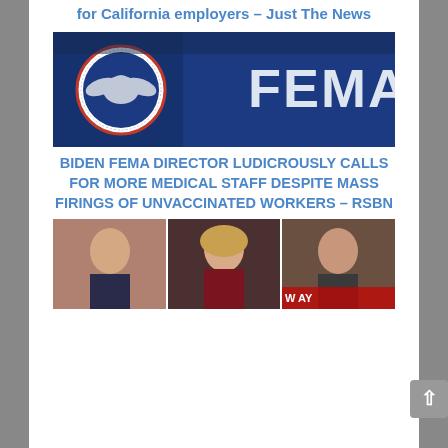for California employers – Just The News
[Figure (photo): FEMA sign with U.S. Department of Homeland Security seal on blue background]
BIDEN FEMA DIRECTOR LUDICROUSLY CALLS FOR MORE MEDICAL STAFF DESPITE MASS FIRINGS OF UNVACCINATED WORKERS – RSBN
[Figure (photo): Three TV news personalities: a man on left, a blonde woman in center, an older man on right with a news ticker visible]